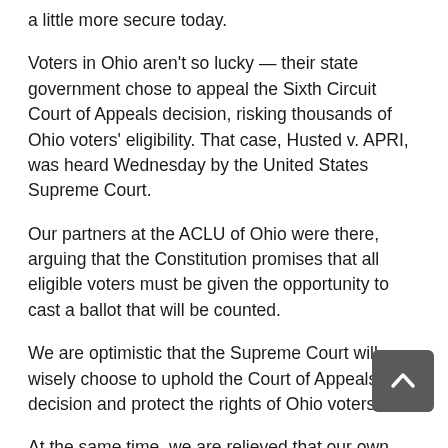a little more secure today.
Voters in Ohio aren't so lucky — their state government chose to appeal the Sixth Circuit Court of Appeals decision, risking thousands of Ohio voters' eligibility. That case, Husted v. APRI, was heard Wednesday by the United States Supreme Court.
Our partners at the ACLU of Ohio were there, arguing that the Constitution promises that all eligible voters must be given the opportunity to cast a ballot that will be counted.
We are optimistic that the Supreme Court will wisely choose to uphold the Court of Appeals' decision and protect the rights of Ohio voters.
At the same time, we are relieved that our own elected state officials have already taken steps to ensure that Tennessee voters are able to cast their ballots without the unnecessary hurdles this voter purging practice creates.